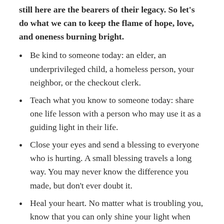still here are the bearers of their legacy. So let's do what we can to keep the flame of hope, love, and oneness burning bright.
Be kind to someone today: an elder, an underprivileged child, a homeless person, your neighbor, or the checkout clerk.
Teach what you know to someone today: share one life lesson with a person who may use it as a guiding light in their life.
Close your eyes and send a blessing to everyone who is hurting. A small blessing travels a long way. You may never know the difference you made, but don't ever doubt it.
Heal your heart. No matter what is troubling you, know that you can only shine your light when you resolve what hurts you.
Every drop of water makes up the ocean. No drop is